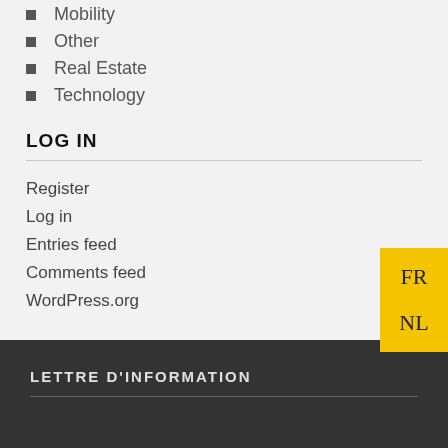Mobility
Other
Real Estate
Technology
LOG IN
Register
Log in
Entries feed
Comments feed
WordPress.org
LETTRE D'INFORMATION